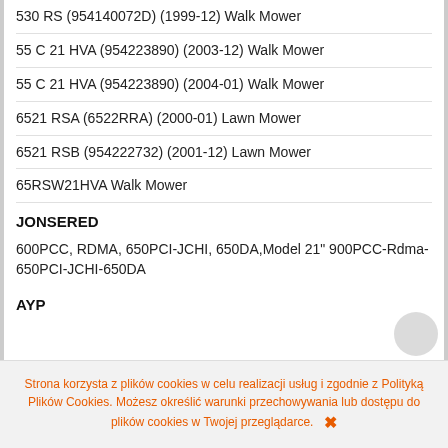530 RS (954140072D) (1999-12) Walk Mower
55 C 21 HVA (954223890) (2003-12) Walk Mower
55 C 21 HVA (954223890) (2004-01) Walk Mower
6521 RSA (6522RRA) (2000-01) Lawn Mower
6521 RSB (954222732) (2001-12) Lawn Mower
65RSW21HVA Walk Mower
JONSERED
600PCC, RDMA, 650PCI-JCHI, 650DA,Model 21" 900PCC-Rdma-650PCI-JCHI-650DA
AYP
Strona korzysta z plików cookies w celu realizacji usług i zgodnie z Polityką Plików Cookies. Możesz określić warunki przechowywania lub dostępu do plików cookies w Twojej przeglądarce.